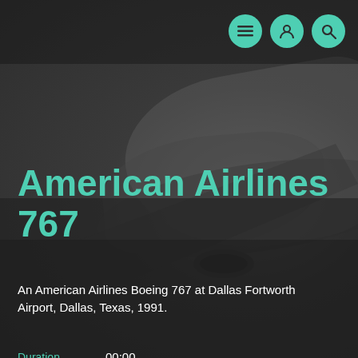[Figure (photo): Dark background with an American Airlines Boeing 767 aircraft visible, taken at Dallas Fortworth Airport. The image is dimly lit with a gray/dark overlay.]
Navigation icons: menu, user, search
American Airlines 767
An American Airlines Boeing 767 at Dallas Fortworth Airport, Dallas, Texas, 1991.
| Field | Value |
| --- | --- |
| Duration | 00:00 |
| Shot | 1 Jan 1991 |
| Ref | 116754-17-409 |
| Location | Dallas, Texas, United States |
| Collections | Aviation |